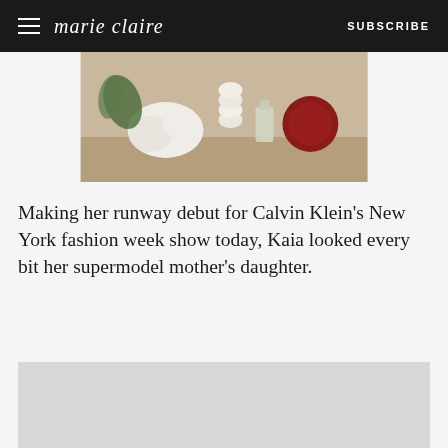marie claire  SUBSCRIBE
[Figure (photo): Advertisement image showing decorative objects including white sculptural forms, a bottle, and a red yarn/wool item on a wooden surface with greenery in the background.]
Making her runway debut for Calvin Klein's New York fashion week show today, Kaia looked every bit her supermodel mother's daughter.
[Figure (photo): Large gray placeholder image (content loading or advertisement).]